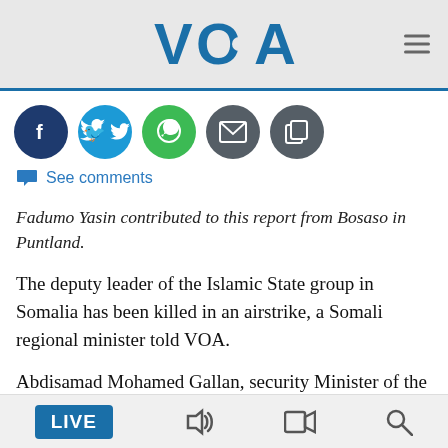VOA
[Figure (logo): VOA (Voice of America) logo in blue with social share icons (Facebook, Twitter, WhatsApp, Email, Copy) and hamburger menu]
See comments
Fadumo Yasin contributed to this report from Bosaso in Puntland.
The deputy leader of the Islamic State group in Somalia has been killed in an airstrike, a Somali regional minister told VOA.
Abdisamad Mohamed Gallan, security Minister of the Puntland region, told VOA Somali the airstrike that
LIVE [audio] [video] [search]